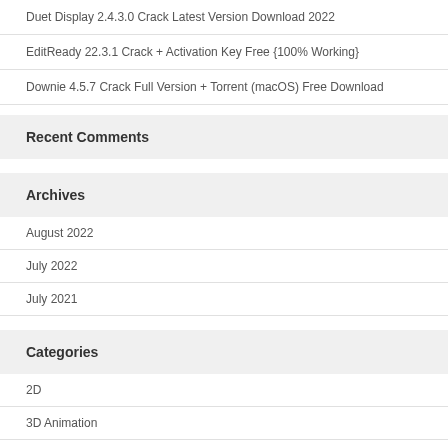Duet Display 2.4.3.0 Crack Latest Version Download 2022
EditReady 22.3.1 Crack + Activation Key Free {100% Working}
Downie 4.5.7 Crack Full Version + Torrent (macOS) Free Download
Recent Comments
Archives
August 2022
July 2022
July 2021
Categories
2D
3D Animation